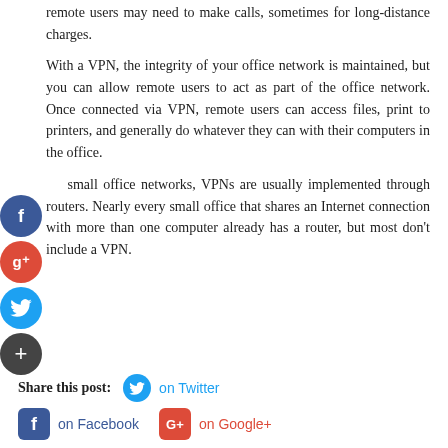remote users may need to make calls, sometimes for long-distance charges.
With a VPN, the integrity of your office network is maintained, but you can allow remote users to act as part of the office network. Once connected via VPN, remote users can access files, print to printers, and generally do whatever they can with their computers in the office.
For small office networks, VPNs are usually implemented through routers. Nearly every small office that shares an Internet connection with more than one computer already has a router, but most don't include a VPN.
Share this post: on Twitter on Facebook on Google+